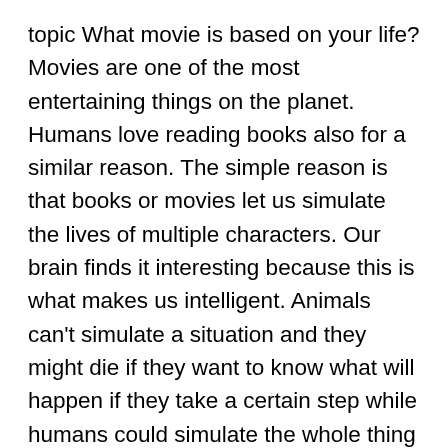topic What movie is based on your life? Movies are one of the most entertaining things on the planet. Humans love reading books also for a similar reason. The simple reason is that books or movies let us simulate the lives of multiple characters. Our brain finds it interesting because this is what makes us intelligent. Animals can't simulate a situation and they might die if they want to know what will happen if they take a certain step while humans could simulate the whole thing in their head, coming with almost all the possible outcomes.
This saves us energy, time, and even our life sometimes. This is what makes the human brain so unique and intelligent. Some animals are considered intelligent like dolphins, or octopuses but they don't